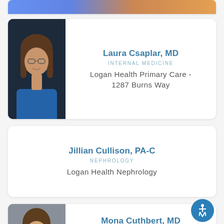[Figure (photo): Partial card at top showing a cropped image]
Laura Csaplar, MD
INTERNAL MEDICINE
Logan Health Primary Care - 1287 Burns Way
[Figure (photo): Photo of Laura Csaplar, MD, wearing glasses and blue sweater]
Jillian Cullison, PA-C
NEPHROLOGY
Logan Health Nephrology
Mona Cuthbert, MD
FAMILY PRACTICE
Logan Health Primary Care Lakeside
[Figure (photo): Photo of Mona Cuthbert, MD]